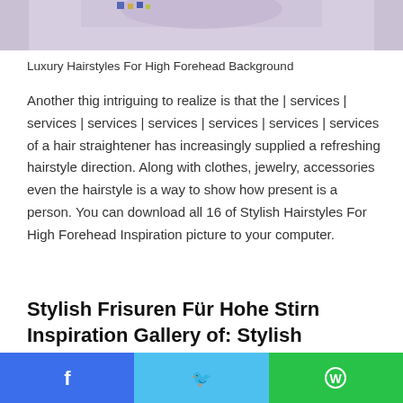[Figure (photo): Partial top portion of a photo showing a person with decorative hairstyle against a light purple background]
Luxury Hairstyles For High Forehead Background
Another thig intriguing to realize is that the | services | services | services | services | services | services | services of a hair straightener has increasingly supplied a refreshing hairstyle direction. Along with clothes, jewelry, accessories even the hairstyle is a way to show how present is a person. You can download all 16 of Stylish Hairstyles For High Forehead Inspiration picture to your computer.
Stylish Frisuren Für Hohe Stirn Inspiration Gallery of: Stylish
Facebook | Twitter | WhatsApp